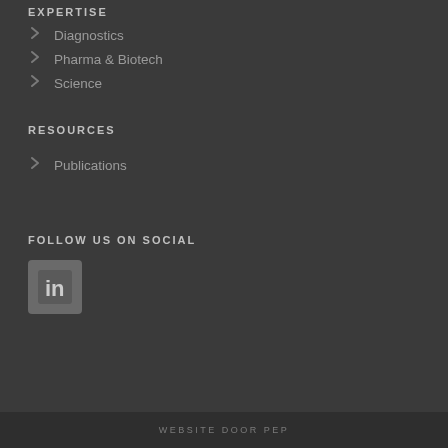EXPERTISE
Diagnostics
Pharma & Biotech
Science
RESOURCES
Publications
FOLLOW US ON SOCIAL
[Figure (logo): LinkedIn icon - rounded rectangle with 'in' text in white on dark background]
WEBSITE DOOR PEP